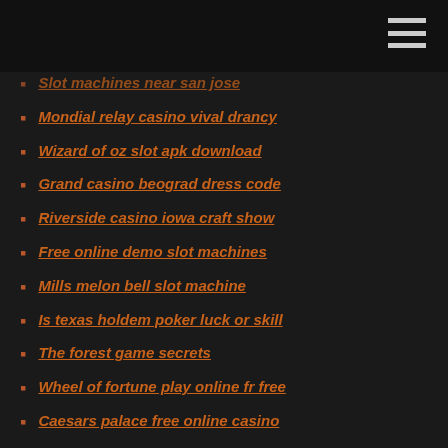Slot machines near san jose
Mondial relay casino vival drancy
Wizard of oz slot apk download
Grand casino beograd dress code
Riverside casino iowa craft show
Free online demo slot machines
Mills melon bell slot machine
Is texas holdem poker luck or skill
The forest game secrets
Wheel of fortune play online fr free
Caesars palace free online casino
Casino van der valk alphen
What to bet on slot machines
List of best texas holdem starting hands